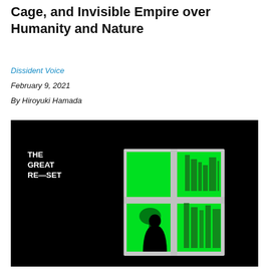Cage, and Invisible Empire over Humanity and Nature
Dissident Voice
February 9, 2021
By Hiroyuki Hamada
[Figure (photo): A dark/black background image with 'THE GREAT RE_SET' text in white in the upper left. In the center-right is a window frame with bright green panes showing a silhouette of a person standing inside looking out, with a tree and buildings visible through the green-lit window.]